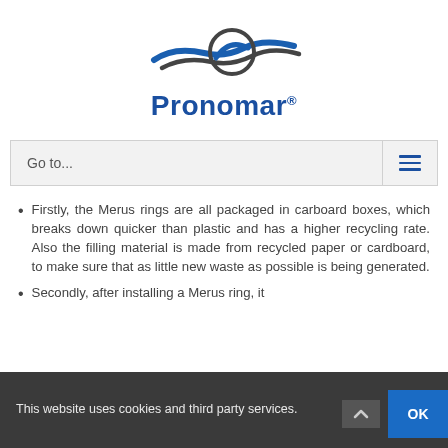[Figure (logo): Pronomar logo with circular swoosh graphic in dark gray and blue waves, with the text Pronomar in bold blue below]
Go to...
Firstly, the Merus rings are all packaged in carboard boxes, which breaks down quicker than plastic and has a higher recycling rate. Also the filling material is made from recycled paper or cardboard, to make sure that as little new waste as possible is being generated.
Secondly, after installing a Merus ring, it
This website uses cookies and third party services.